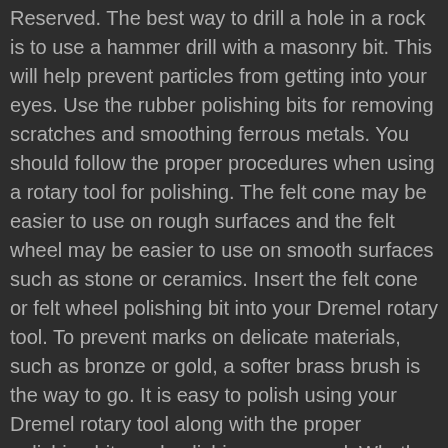Reserved. The best way to drill a hole in a rock is to use a hammer drill with a masonry bit. This will help prevent particles from getting into your eyes. Use the rubber polishing bits for removing scratches and smoothing ferrous metals. You should follow the proper procedures when using a rotary tool for polishing. The felt cone may be easier to use on rough surfaces and the felt wheel may be easier to use on smooth surfaces such as stone or ceramics. Insert the felt cone or felt wheel polishing bit into your Dremel rotary tool. To prevent marks on delicate materials, such as bronze or gold, a softer brass brush is the way to go. It is easy to polish using your Dremel rotary tool along with the proper polishing bits and polishing compound. Whether you want to revamp your valuables, give an old bike a new lease of life or simply combat limescale in the kitchen, your Dremel tool and its accompanying accessories will help you. With a Dremel, polishing precious items, such as silver jewellery, is safe, efficient and easy. Step 1. Unplug your tool first, and then unscrew it from the mandrel by pressing the 'lock' button while turning the accessory